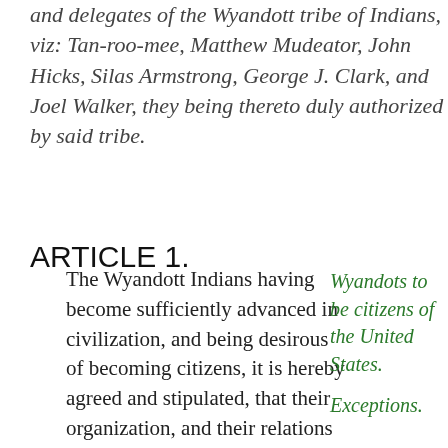and delegates of the Wyandott tribe of Indians, viz: Tan-roo-mee, Matthew Mudeator, John Hicks, Silas Armstrong, George J. Clark, and Joel Walker, they being thereto duly authorized by said tribe.
ARTICLE 1.
The Wyandott Indians having become sufficiently advanced in civilization, and being desirous of becoming citizens, it is hereby agreed and stipulated, that their organization, and their relations with the United States as an Indian tribe shall be dissolved and terminated on the ratification
Wyandots to be citizens of the United States.
Exceptions.